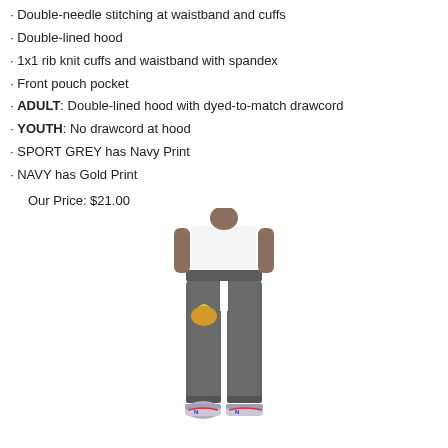· Double-needle stitching at waistband and cuffs
· Double-lined hood
· 1x1 rib knit cuffs and waistband with spandex
· Front pouch pocket
· ADULT: Double-lined hood with dyed-to-match drawcord
· YOUTH: No drawcord at hood
· SPORT GREY has Navy Print
· NAVY has Gold Print
Our Price: $21.00
[Figure (photo): Youth wearing grey sweatpants with a yellow graphic print on the thigh, white t-shirt, and colorful sneakers.]